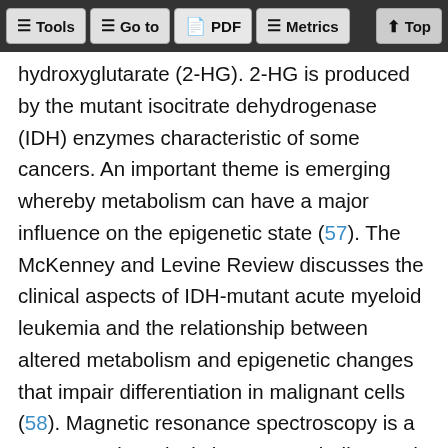Tools  Go to  PDF  Metrics  Top
hydroxyglutarate (2-HG). 2-HG is produced by the mutant isocitrate dehydrogenase (IDH) enzymes characteristic of some cancers. An important theme is emerging whereby metabolism can have a major influence on the epigenetic state (57). The McKenney and Levine Review discusses the clinical aspects of IDH-mutant acute myeloid leukemia and the relationship between altered metabolism and epigenetic changes that impair differentiation in malignant cells (58). Magnetic resonance spectroscopy is a way to noninvasively image metabolites and could be a solution to the challenge of tracking metabolism in patient tumors. Andronesi et al. describe the use of this approach to monitor 2-HG in patients with IDH-mutant cancers (59).